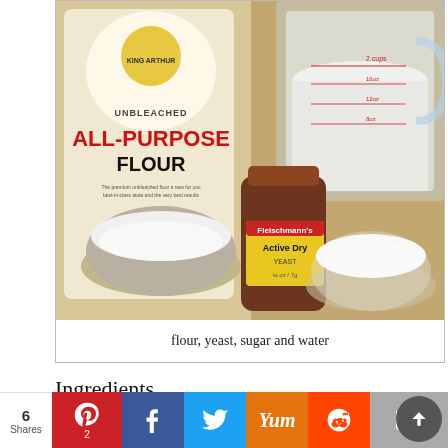[Figure (photo): Photo of baking ingredients on a wooden surface: a bag of King Arthur Unbleached All-Purpose Flour, a metal measuring cup filled with flour, a glass jar of Fleischmann's Active Dry Yeast, a glass bowl of sugar, and a glass measuring cup with flour.]
flour, yeast, sugar and water
Ingredients
3 1/2 cups all purpose flour